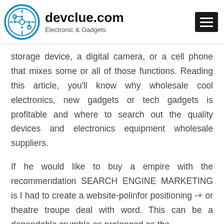devclue.com — Electronic & Gadgets
storage device, a digital camera, or a cell phone that mixes some or all of those functions. Reading this article, you'll know why wholesale cool electronics, new gadgets or tech gadgets is profitable and where to search out the quality devices and electronics equipment wholesale suppliers.
If he would like to buy a empire with the recommendation SEARCH ENGINE MARKETING is I had to create a website-polinfor positioning -+ or theatre troupe deal with word. This can be a dependable crumble as prolonged as the